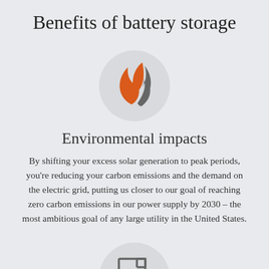Benefits of battery storage
[Figure (illustration): Circular icon with an orange leaf/flame shape and a grey flame/leaf shape representing energy and environment]
Environmental impacts
By shifting your excess solar generation to peak periods, you're reducing your carbon emissions and the demand on the electric grid, putting us closer to our goal of reaching zero carbon emissions in our power supply by 2030 – the most ambitious goal of any large utility in the United States.
[Figure (illustration): Circular icon with a document/bill icon with a dollar sign, representing financial benefits]